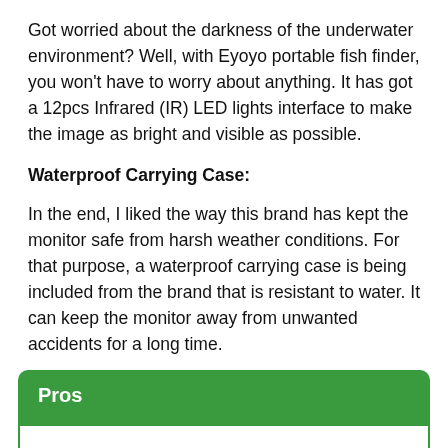Got worried about the darkness of the underwater environment? Well, with Eyoyo portable fish finder, you won't have to worry about anything. It has got a 12pcs Infrared (IR) LED lights interface to make the image as bright and visible as possible.
Waterproof Carrying Case:
In the end, I liked the way this brand has kept the monitor safe from harsh weather conditions. For that purpose, a waterproof carrying case is being included from the brand that is resistant to water. It can keep the monitor away from unwanted accidents for a long time.
Pros